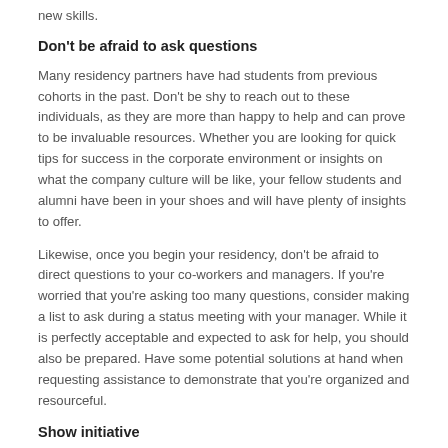new skills.
Don't be afraid to ask questions
Many residency partners have had students from previous cohorts in the past. Don't be shy to reach out to these individuals, as they are more than happy to help and can prove to be invaluable resources. Whether you are looking for quick tips for success in the corporate environment or insights on what the company culture will be like, your fellow students and alumni have been in your shoes and will have plenty of insights to offer.
Likewise, once you begin your residency, don't be afraid to direct questions to your co-workers and managers. If you're worried that you're asking too many questions, consider making a list to ask during a status meeting with your manager. While it is perfectly acceptable and expected to ask for help, you should also be prepared. Have some potential solutions at hand when requesting assistance to demonstrate that you're organized and resourceful.
Show initiative